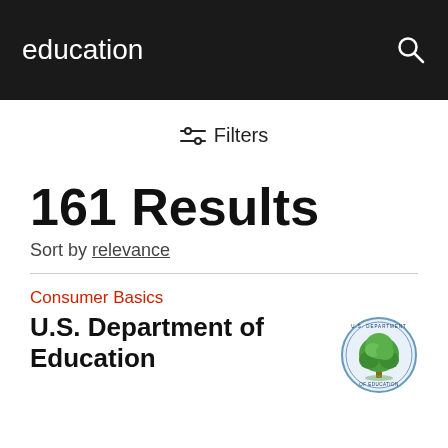education
Filters
161 Results
Sort by relevance
Consumer Basics
U.S. Department of Education
[Figure (logo): U.S. Department of Education circular seal/logo with a tree in the center]